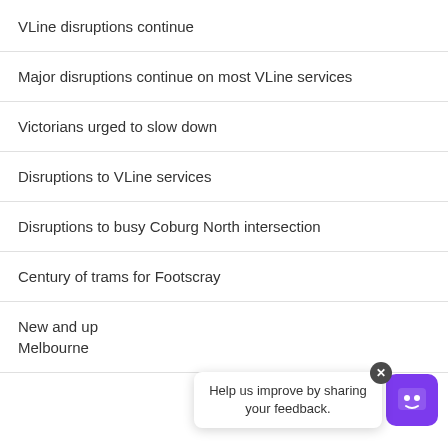VLine disruptions continue
Major disruptions continue on most VLine services
Victorians urged to slow down
Disruptions to VLine services
Disruptions to busy Coburg North intersection
Century of trams for Footscray
New and up Melbourne